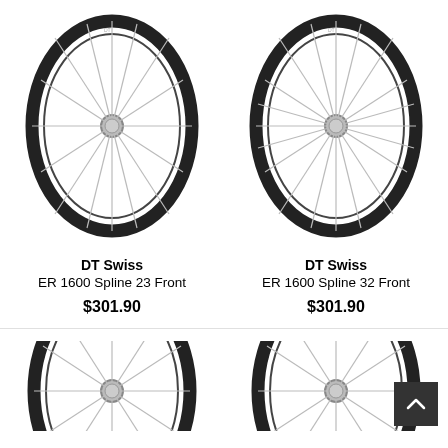[Figure (photo): DT Swiss ER 1600 Spline 23 Front bicycle wheel, black rim with silver spokes]
DT Swiss
ER 1600 Spline 23 Front
$301.90
[Figure (photo): DT Swiss ER 1600 Spline 32 Front bicycle wheel, black rim with silver spokes]
DT Swiss
ER 1600 Spline 32 Front
$301.90
[Figure (photo): Partial view of a bicycle wheel, bottom left (cropped)]
[Figure (photo): Partial view of a bicycle wheel, bottom right (cropped)]